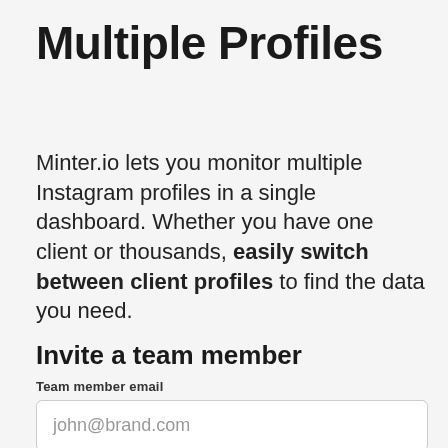Multiple Profiles
Minter.io lets you monitor multiple Instagram profiles in a single dashboard. Whether you have one client or thousands, easily switch between client profiles to find the data you need.
Invite a team member
Team member email
john@brand.com